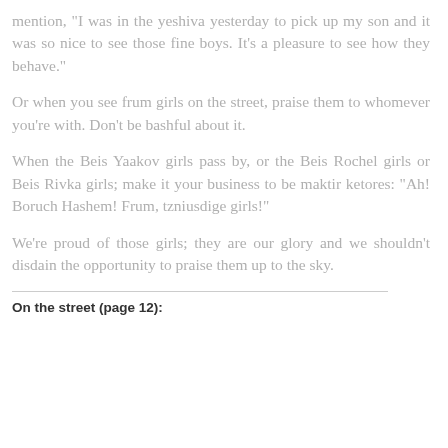mention, "I was in the yeshiva yesterday to pick up my son and it was so nice to see those fine boys. It's a pleasure to see how they behave."
Or when you see frum girls on the street, praise them to whomever you're with. Don't be bashful about it.
When the Beis Yaakov girls pass by, or the Beis Rochel girls or Beis Rivka girls; make it your business to be maktir ketores: “Ah! Boruch Hashem! Frum, tzniusdige girls!”
We’re proud of those girls; they are our glory and we shouldn’t disdain the opportunity to praise them up to the sky.
On the street (page 12):